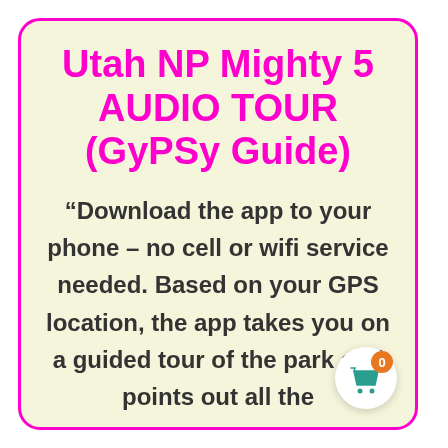Utah NP Mighty 5 AUDIO TOUR (GyPSy Guide)
“Download the app to your phone – no cell or wifi service needed. Based on your GPS location, the app takes you on a guided tour of the park and points out all the